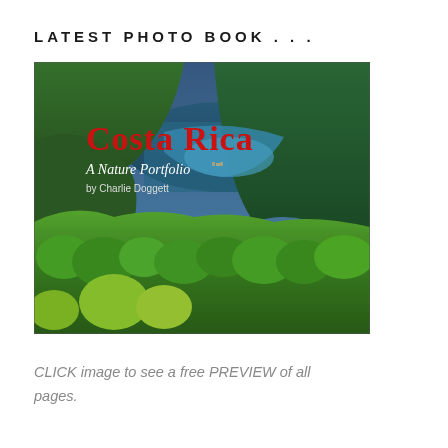LATEST PHOTO BOOK . . .
[Figure (photo): Book cover for 'Costa Rica: A Nature Portfolio by Charlie Doggett' showing an aerial/elevated view of lush green tropical rainforest hills with a blue ocean bay and small settlement visible in the background. The book title 'Costa Rica' is displayed in large red text, with subtitle 'A Nature Portfolio' and author 'by Charlie Doggett' in white text below.]
CLICK image to see a free PREVIEW of all pages.